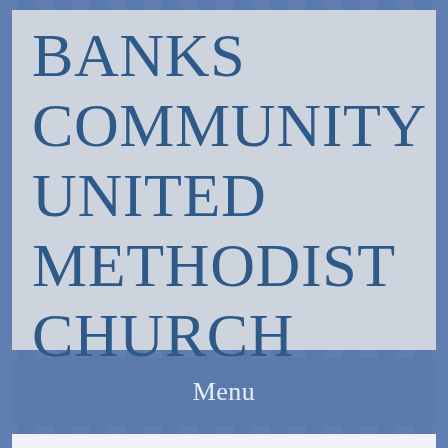BANKS COMMUNITY UNITED METHODIST CHURCH
Menu
Banks Community Food